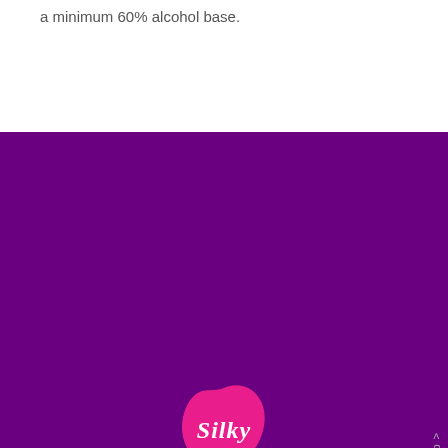a minimum 60% alcohol base.
[Figure (logo): Silky brand logo: pink blob/splat shape with white cursive text 'Silky' on a dark purple background]
Copyright  2021
Privacy Policy
FAQ's
Back to top >